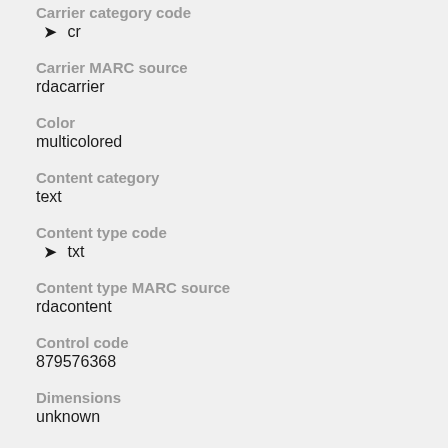Carrier category code
cr
Carrier MARC source
rdacarrier
Color
multicolored
Content category
text
Content type code
txt
Content type MARC source
rdacontent
Control code
879576368
Dimensions
unknown
Extent